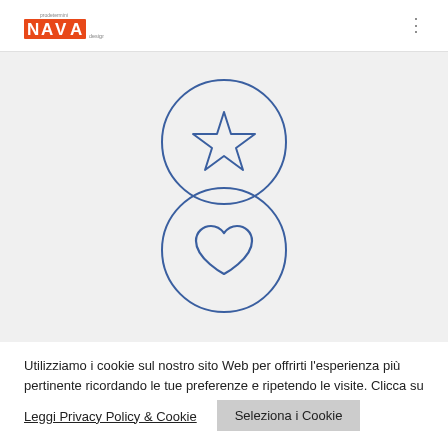[Figure (logo): Nava design brand logo with orange/red block letters and small text]
[Figure (illustration): Two overlapping circles with blue outlines on a light gray background. Top circle contains a star outline icon, bottom circle contains a heart outline icon. Both icons are in blue.]
Utilizziamo i cookie sul nostro sito Web per offrirti l'esperienza più pertinente ricordando le tue preferenze e ripetendo le visite. Clicca su "seleziona cookie" per fornire un consenso controllato.
Leggi Privacy Policy & Cookie
Seleziona i Cookie